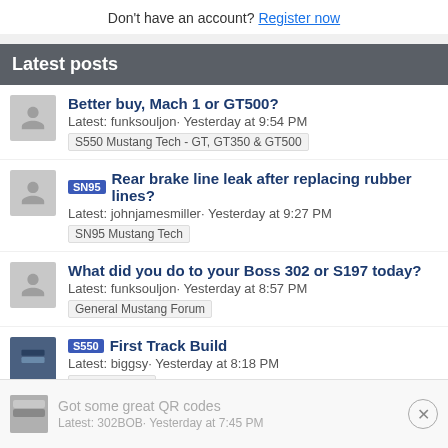Don't have an account? Register now
Latest posts
Better buy, Mach 1 or GT500? Latest: funksouljon· Yesterday at 9:54 PM S550 Mustang Tech - GT, GT350 & GT500
SN95 Rear brake line leak after replacing rubber lines? Latest: johnjamesmiller· Yesterday at 9:27 PM SN95 Mustang Tech
What did you do to your Boss 302 or S197 today? Latest: funksouljon· Yesterday at 8:57 PM General Mustang Forum
S550 First Track Build Latest: biggsy· Yesterday at 8:18 PM Build Threads
Got some great QR codes Latest: 302BOB· Yesterday at 7:45 PM